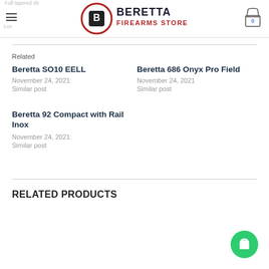Beretta Firearms Store - navigation header with logo and cart
Full tapered rib
Related
Beretta SO10 EELL
November 24, 2021
Similar post
Beretta 686 Onyx Pro Field
November 24, 2021
Similar post
Beretta 92 Compact with Rail Inox
November 24, 2021
Similar post
RELATED PRODUCTS
[Figure (other): Green circular chat/messaging button]